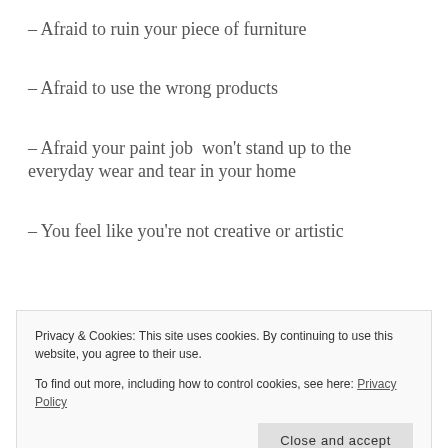– Afraid to ruin your piece of furniture
– Afraid to use the wrong products
– Afraid your paint job  won't stand up to the everyday wear and tear in your home
– You feel like you're not creative or artistic
Privacy & Cookies: This site uses cookies. By continuing to use this website, you agree to their use.
To find out more, including how to control cookies, see here: Privacy Policy
Close and accept
all of the steps, and a complete list of